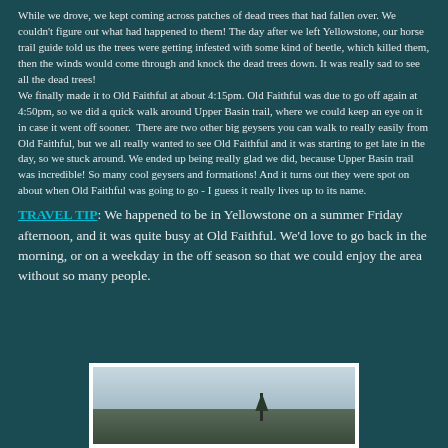While we drove, we kept coming across patches of dead trees that had fallen over. We couldn't figure out what had happened to them! The day after we left Yellowstone, our horse trail guide told us the trees were getting infested with some kind of beetle, which killed them, then the winds would come through and knock the dead trees down. It was really sad to see all the dead trees! We finally made it to Old Faithful at about 4:15pm. Old Faithful was due to go off again at 4:50pm, so we did a quick walk around Upper Basin trail, where we could keep an eye on it in case it went off sooner. There are two other big geysers you can walk to really easily from Old Faithful, but we all really wanted to see Old Faithful and it was starting to get late in the day, so we stuck around. We ended up being really glad we did, because Upper Basin trail was incredible! So many cool geysers and formations! And it turns out they were spot on about when Old Faithful was going to go - I guess it really lives up to its name.
TRAVEL TIP: We happened to be in Yellowstone on a summer Friday afternoon, and it was quite busy at Old Faithful. We'd love to go back in the morning, or on a weekday in the off season so that we could enjoy the area without so many people.
[Figure (photo): A landscape photo showing a lone tree silhouetted against a cloudy sky with land in the foreground, taken at Yellowstone.]